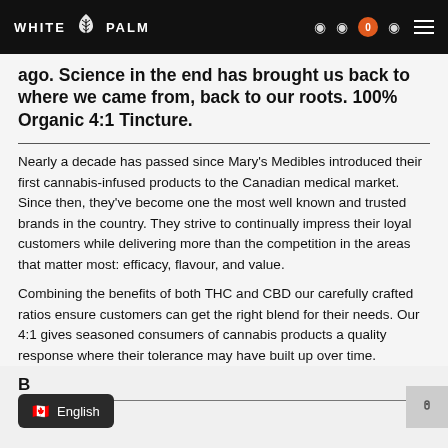WHITE PALM
ago. Science in the end has brought us back to where we came from, back to our roots. 100% Organic 4:1 Tincture.
Nearly a decade has passed since Mary's Medibles introduced their first cannabis-infused products to the Canadian medical market. Since then, they've become one the most well known and trusted brands in the country. They strive to continually impress their loyal customers while delivering more than the competition in the areas that matter most: efficacy, flavour, and value.
Combining the benefits of both THC and CBD our carefully crafted ratios ensure customers can get the right blend for their needs. Our 4:1 gives seasoned consumers of cannabis products a quality response where their tolerance may have built up over time.
B